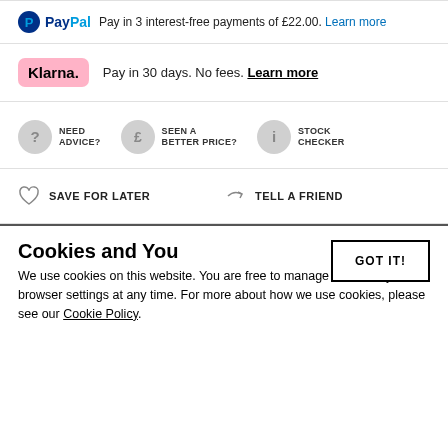PayPal Pay in 3 interest-free payments of £22.00. Learn more
Klarna. Pay in 30 days. No fees. Learn more
NEED ADVICE? | SEEN A BETTER PRICE? | STOCK CHECKER
SAVE FOR LATER | TELL A FRIEND
Cookies and You
We use cookies on this website. You are free to manage these via your browser settings at any time. For more about how we use cookies, please see our Cookie Policy.